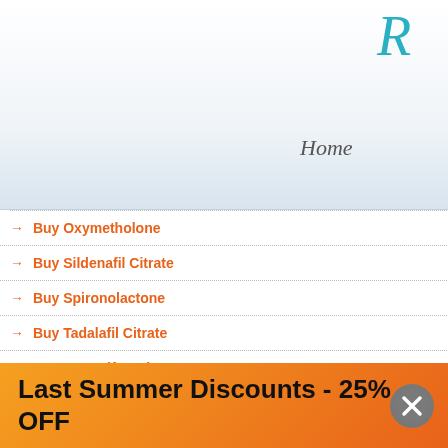R
Home
News
→ Buy Oxymetholone -25%
→ Buy Sildenafil Citrate -25%
→ Buy Spironolactone -25%
→ Buy Tadalafil Citrate -25%
→ Buy Tamoxifen Citrate -25%
→ Buy Testosterone Base -25%
→ Buy Testosterone Cypionate -25%
41.25 USD
55.00 USD
Sust
Drug C
Brand
Routes
Pharm
- Testo
- Testo
- Testo
- Testo
- Testo
Overal
Manuf
Last Summer Discounts - 25% OFF